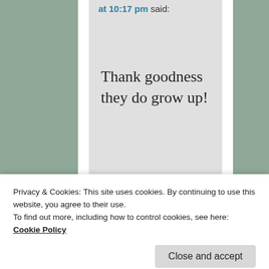at 10:17 pm said:
Thank goodness they do grow up!
★ Liked by 1 person
on May
Privacy & Cookies: This site uses cookies. By continuing to use this website, you agree to their use. To find out more, including how to control cookies, see here: Cookie Policy
Close and accept